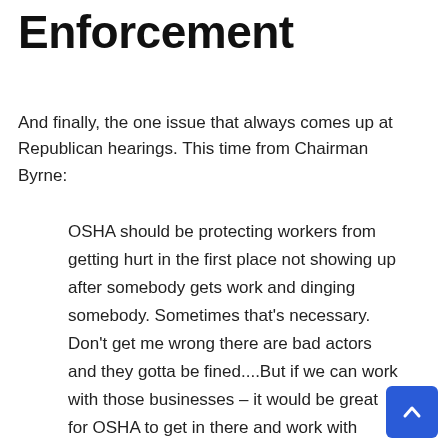Enforcement
And finally, the one issue that always comes up at Republican hearings. This time from Chairman Byrne:
OSHA should be protecting workers from getting hurt in the first place not showing up after somebody gets work and dinging somebody. Sometimes that’s necessary. Don’t get me wrong there are bad actors and they gotta be fined....But if we can work with those businesses – it would be great for OSHA to get in there and work with them so that no on e is injured in the first place.